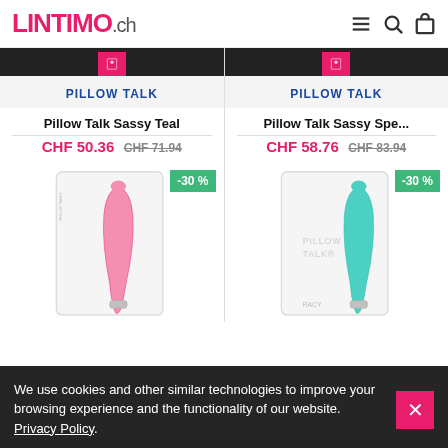LINTIMO.ch
PILLOW TALK
PILLOW TALK
Pillow Talk Sassy Teal
Pillow Talk Sassy Spe...
CHF 50.36 CHF 71.94
CHF 58.76 CHF 83.94
[Figure (photo): Pink Pillow Talk Sassy vibrator in white product box with -30% badge]
[Figure (photo): Teal Pillow Talk Sassy vibrator in white product box with -30% badge]
We use cookies and other similar technologies to improve your browsing experience and the functionality of our website. Privacy Policy.